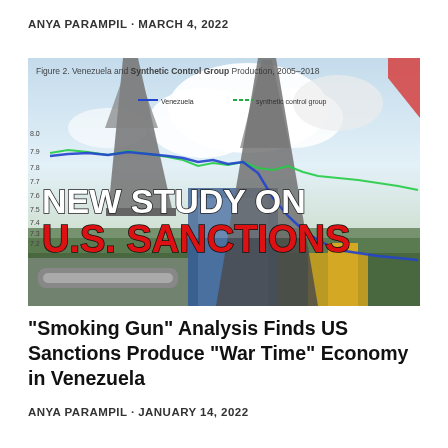ANYA PARAMPIL · MARCH 4, 2022
[Figure (photo): Oil drilling rig photograph overlaid with a line chart titled 'Figure 2. Venezuela and Synthetic Control Group Production, 2005-2018' showing production data in barrels per day from 7.2 to 8.0, with a blue line for Venezuela declining sharply and a green line for synthetic control group. Bold white text reads 'NEW STUDY ON' and bold red text reads 'U.S. SANCTIONS'.]
“Smoking Gun” Analysis Finds US Sanctions Produce “War Time” Economy in Venezuela
ANYA PARAMPIL · JANUARY 14, 2022